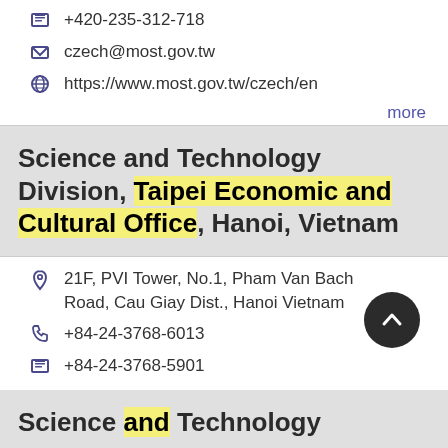+420-235-312-718
czech@most.gov.tw
https://www.most.gov.tw/czech/en
more
Science and Technology Division, Taipei Economic and Cultural Office, Hanoi, Vietnam
21F, PVI Tower, No.1, Pham Van Bach Road, Cau Giay Dist., Hanoi Vietnam
+84-24-3768-6013
+84-24-3768-5901
viet01@most.gov.tw
https://www.most.gov.tw/vietnam/en
more
Science and Technology